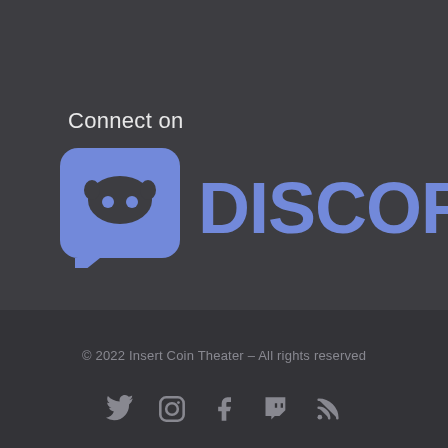Connect on
[Figure (logo): Discord logo: purple rounded-rectangle speech bubble icon with a game controller face, followed by the word DISCORD in bold purple letters]
© 2022 Insert Coin Theater – All rights reserved
[Figure (illustration): Row of five social media icons: Twitter bird, Instagram camera, Facebook F, Twitch game controller, RSS feed symbol — all in muted gray]